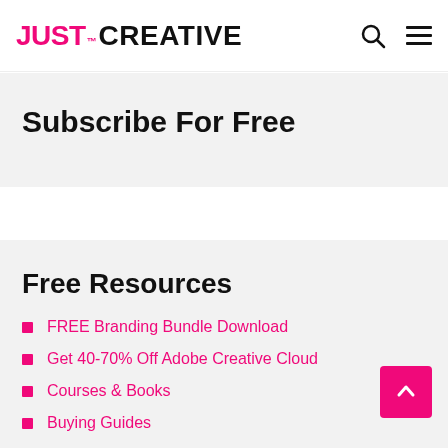JUST™ CREATIVE
Subscribe For Free
Free Resources
FREE Branding Bundle Download
Get 40-70% Off Adobe Creative Cloud
Courses & Books
Buying Guides